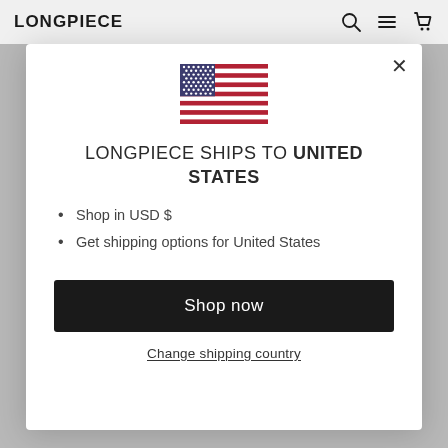LONGPIECE
[Figure (illustration): US flag SVG illustration centered in modal]
LONGPIECE SHIPS TO UNITED STATES
Shop in USD $
Get shipping options for United States
Shop now
Change shipping country